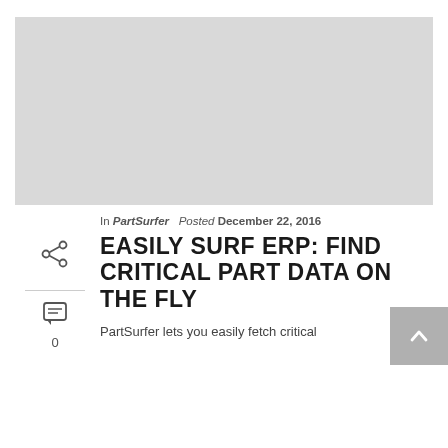[Figure (photo): Light gray placeholder image area at the top of the page]
In PartSurfer  Posted December 22, 2016
EASILY SURF ERP: FIND CRITICAL PART DATA ON THE FLY
PartSurfer lets you easily fetch critical